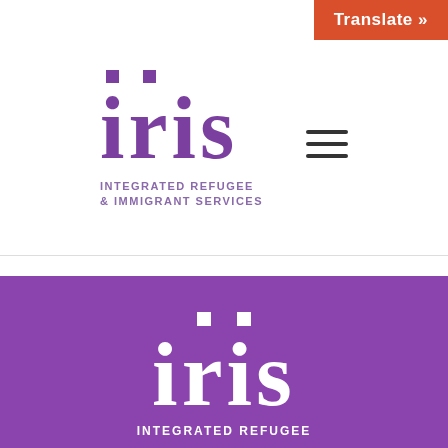[Figure (logo): IRIS - Integrated Refugee & Immigrant Services logo in purple on white background, with 'iris' in large serif font and two purple square dots above the 'i' and 's' letters, followed by the tagline 'INTEGRATED REFUGEE & IMMIGRANT SERVICES' in small caps]
[Figure (other): Hamburger menu icon (three horizontal dark lines) in the top right area]
Translate »
[Figure (logo): IRIS - Integrated Refugee logo in white on purple background, with 'iris' in large serif font and two white square dots above the 'i' and 's' letters, followed by 'INTEGRATED REFUGEE' in small caps white text]